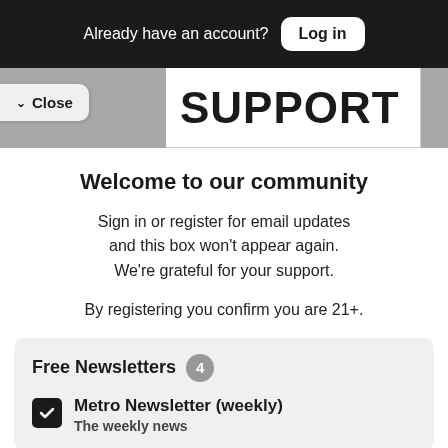Already have an account? Log in
✓ Close   SUPPORT
Welcome to our community
Sign in or register for email updates and this box won't appear again. We're grateful for your support.
By registering you confirm you are 21+.
Free Newsletters 4
Metro Newsletter (weekly)
The weekly news